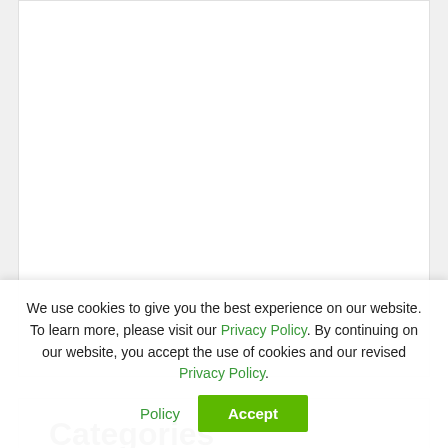[Figure (other): White content card area (top portion, blank/empty content area)]
Categories
Actions
Boycott, divestment & sanctions
We use cookies to give you the best experience on our website. To learn more, please visit our Privacy Policy. By continuing on our website, you accept the use of cookies and our revised Privacy Policy
Accept